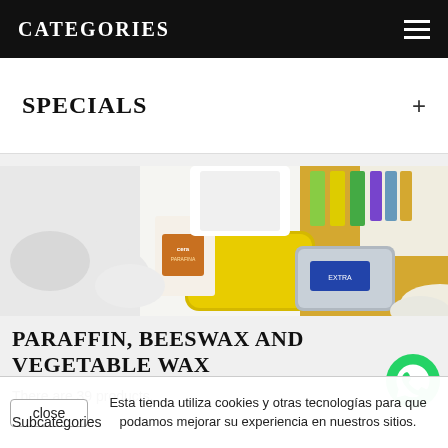CATEGORIES
SPECIALS
[Figure (photo): Product photo showing paraffin wax, beeswax, and vegetable wax products including yellow wax slab in metal container, white wax pieces, candles, and wax bottles on shelves]
PARAFFIN, BEESWAX AND VEGETABLE WAX
There are 39 products.
Esta tienda utiliza cookies y otras tecnologías para que podamos mejorar su experiencia en nuestros sitios.
Subcategories